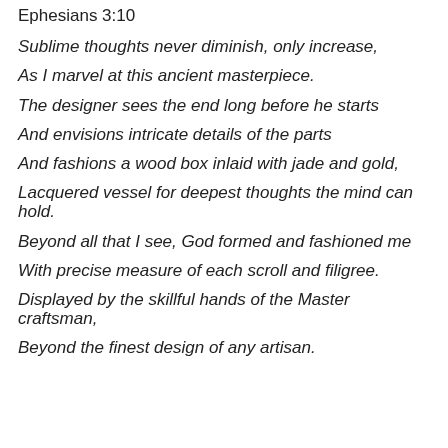Ephesians 3:10
Sublime thoughts never diminish, only increase,
As I marvel at this ancient masterpiece.
The designer sees the end long before he starts
And envisions intricate details of the parts
And fashions a wood box inlaid with jade and gold,
Lacquered vessel for deepest thoughts the mind can hold.
Beyond all that I see, God formed and fashioned me
With precise measure of each scroll and filigree.
Displayed by the skillful hands of the Master craftsman,
Beyond the finest design of any artisan.